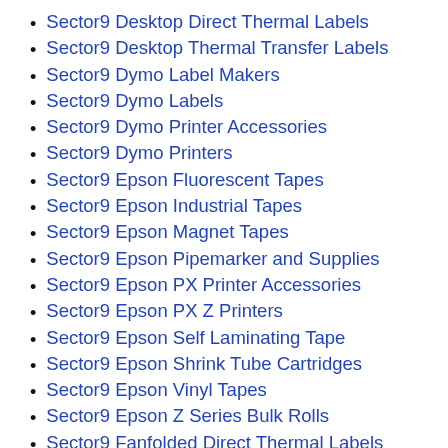Sector9 Desktop Direct Thermal Labels
Sector9 Desktop Thermal Transfer Labels
Sector9 Dymo Label Makers
Sector9 Dymo Labels
Sector9 Dymo Printer Accessories
Sector9 Dymo Printers
Sector9 Epson Fluorescent Tapes
Sector9 Epson Industrial Tapes
Sector9 Epson Magnet Tapes
Sector9 Epson Pipemarker and Supplies
Sector9 Epson PX Printer Accessories
Sector9 Epson PX Z Printers
Sector9 Epson Self Laminating Tape
Sector9 Epson Shrink Tube Cartridges
Sector9 Epson Vinyl Tapes
Sector9 Epson Z Series Bulk Rolls
Sector9 Fanfolded Direct Thermal Labels
Sector9 Fanfolded Thermal Transfer...